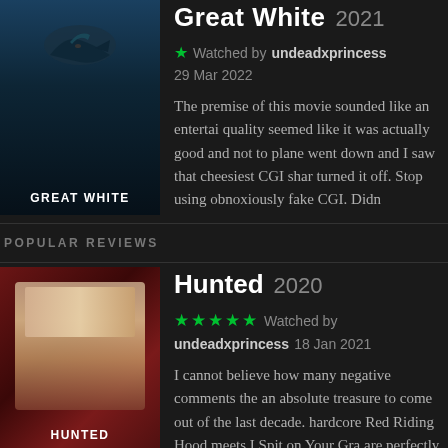Great White 2021
Watched by undeadxprincess 29 Mar 2022
The premise of this movie sounded like an entertai quality seemed like it was actually good and not to plane went down and I saw that cheesiest CGI shar turned it off. Stop using obnoxiously fake CGI. Didn
POPULAR REVIEWS
Hunted 2020
★★★★★ Watched by undeadxprincess 18 Jan 2021
I cannot believe how many negative comments the an absolute treasure to come out of the last decade. hardcore Red Riding Hood meets I Spit on Your Gra are perfectly cast and deliver. The gore is well done especially for being a Shudder original. And the do